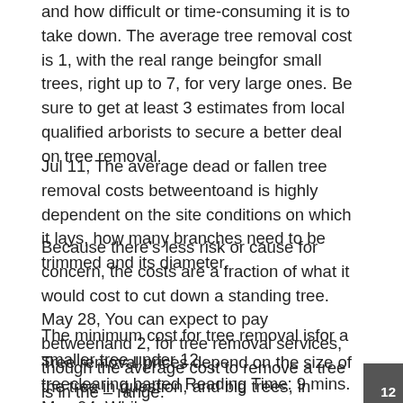and how difficult or time-consuming it is to take down. The average tree removal cost is 1, with the real range beingfor small trees, right up to 7, for very large ones. Be sure to get at least 3 estimates from local qualified arborists to secure a better deal on tree removal.
Jul 11, The average dead or fallen tree removal costs betweentoand is highly dependent on the site conditions on which it lays, how many branches need to be trimmed and its diameter.
Because there's less risk or cause for concern, the costs are a fraction of what it would cost to cut down a standing tree. May 28, You can expect to pay betweenand 2, for tree removal services, though the average cost to remove a tree is in the – range.
Tree removal prices depend on the size of the tree in question, and big trees, in general, cost more to remove than small ones. Nov 15, The average cost to remove a tree from the yard is betweenand, with the average homeowner spending aroundto have a medium-sized tree (19 to 24 feet) removed.
The minimum cost for tree removal isfor a smaller tree under 12 treeclearing.barted Reading Time: 9 mins. May 04, While
12